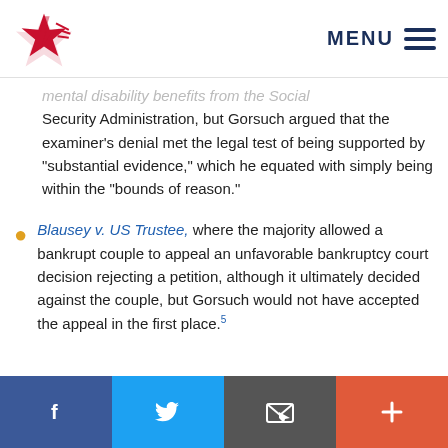MENU
mental disability benefits from the Social Security Administration, but Gorsuch argued that the examiner’s denial met the legal test of being supported by “substantial evidence,” which he equated with simply being within the “bounds of reason.”
Blausey v. US Trustee, where the majority allowed a bankrupt couple to appeal an unfavorable bankruptcy court decision rejecting a petition, although it ultimately decided against the couple, but Gorsuch would not have accepted the appeal in the first place.5
f  (twitter)  (email)  +